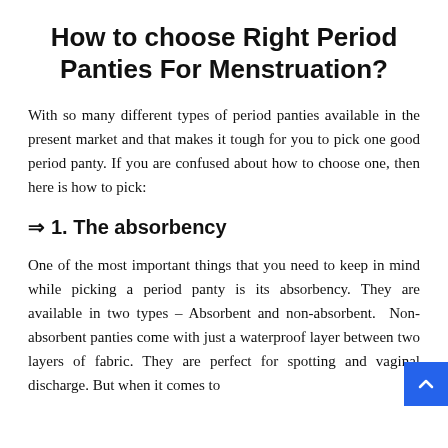How to choose Right Period Panties For Menstruation?
With so many different types of period panties available in the present market and that makes it tough for you to pick one good period panty. If you are confused about how to choose one, then here is how to pick:
⇒ 1. The absorbency
One of the most important things that you need to keep in mind while picking a period panty is its absorbency. They are available in two types – Absorbent and non-absorbent. Non-absorbent panties come with just a waterproof layer between two layers of fabric. They are perfect for spotting and vaginal discharge. But when it comes to